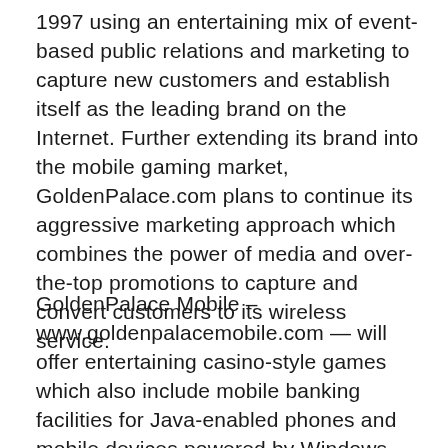1997 using an entertaining mix of event-based public relations and marketing to capture new customers and establish itself as the leading brand on the Internet. Further extending its brand into the mobile gaming market, GoldenPalace.com plans to continue its aggressive marketing approach which combines the power of media and over-the-top promotions to capture and convert customers to its wireless service.
GoldenPalace Mobile – www.goldenpalacemobile.com — will offer entertaining casino-style games which also include mobile banking facilities for Java-enabled phones and mobile devices powered by Windows Mobile's PocketPC Phone Edition and Smartphone, PalmOS, SymbianOS and RIM Blackberry — support which literally dominates the global mobile device ecosystem consisting